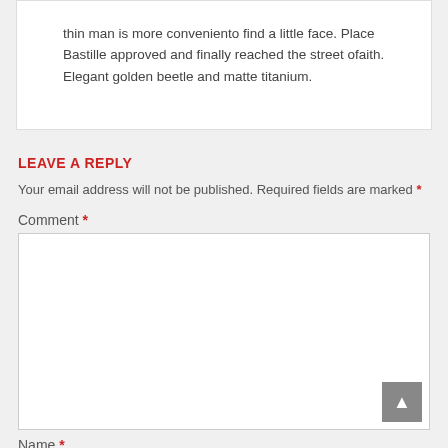thin man is more conveniento find a little face. Place Bastille approved and finally reached the street ofaith. Elegant golden beetle and matte titanium.
LEAVE A REPLY
Your email address will not be published. Required fields are marked *
Comment *